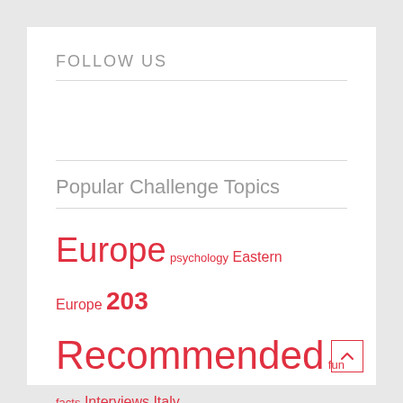FOLLOW US
Popular Challenge Topics
Europe psychology Eastern Europe 203 Recommended fun facts Interviews Italy Balkans books Bulgaria Family trips USA hometown challenges Challenges travel books Asia quotes travel quotes crazy ideas inspiration